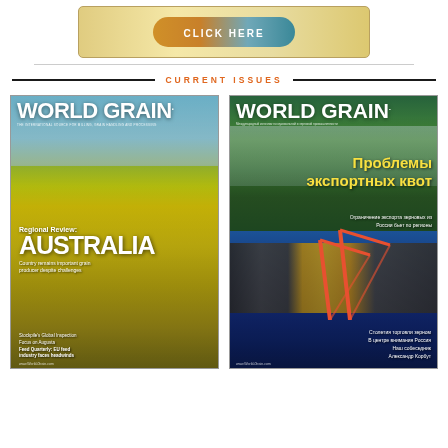[Figure (other): Advertisement banner with gradient gold background and a 'CLICK HERE' button with orange-to-teal gradient]
CURRENT ISSUES
[Figure (photo): World Grain magazine cover - Regional Review: Australia. Shows yellow canola fields with text 'Country remains important grain producer despite challenges'. Bottom items include Feed Quarterly: EU feed industry faces headwinds.]
[Figure (photo): World Grain magazine cover in Russian - Проблемы экспортных квот (Export quota problems). Shows harbor with mountains and cranes. Bottom items: Столетия торговли зерном, В центре внимания Россия, Наш собеседник Александр Корбут.]